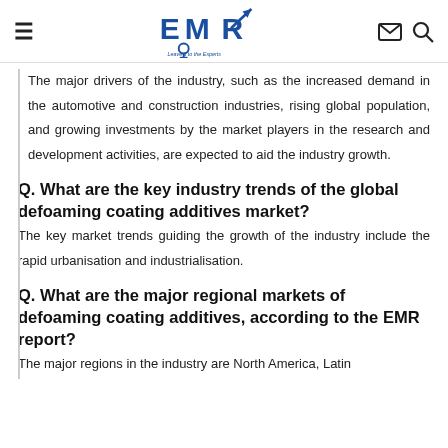EMR — Leave it to the Experts
The major drivers of the industry, such as the increased demand in the automotive and construction industries, rising global population, and growing investments by the market players in the research and development activities, are expected to aid the industry growth.
Q. What are the key industry trends of the global defoaming coating additives market?
The key market trends guiding the growth of the industry include the rapid urbanisation and industrialisation.
Q. What are the major regional markets of defoaming coating additives, according to the EMR report?
The major regions in the industry are North America, Latin